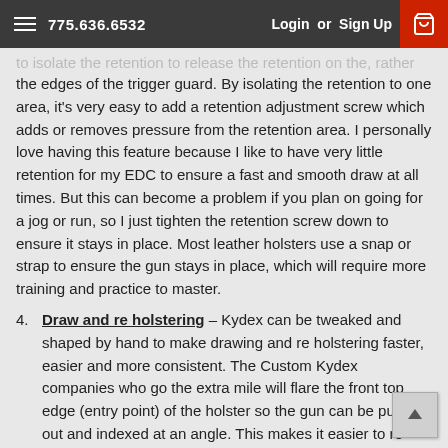775.636.6532   Login or Sign Up
the edges of the trigger guard. By isolating the retention to one area, it's very easy to add a retention adjustment screw which adds or removes pressure from the retention area. I personally love having this feature because I like to have very little retention for my EDC to ensure a fast and smooth draw at all times. But this can become a problem if you plan on going for a jog or run, so I just tighten the retention screw down to ensure it stays in place. Most leather holsters use a snap or strap to ensure the gun stays in place, which will require more training and practice to master.
4. Draw and re holstering – Kydex can be tweaked and shaped by hand to make drawing and re holstering faster, easier and more consistent. The Custom Kydex companies who go the extra mile will flare the front top edge (entry point) of the holster so the gun can be pulled out and indexed at an angle. This makes it easier to re-holster the gun while keeping your eye on the possible threat or target instead of searching for the holster. It will also make drawing while seated, or accidentally re-holstering your gun along with part of your shirt less of an issue. Many leather holsters unless properly maintained will lose stiffness and shape